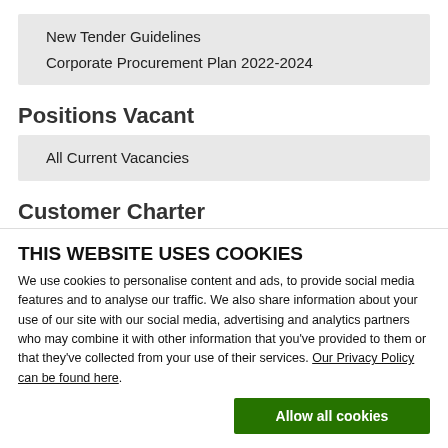New Tender Guidelines
Corporate Procurement Plan 2022-2024
Positions Vacant
All Current Vacancies
Customer Charter
Appeals and Complaints
Customer Charter- Appeals and Complaints
Council Meetings
Annual meeting of the newly elected councillors
THIS WEBSITE USES COOKIES
We use cookies to personalise content and ads, to provide social media features and to analyse our traffic. We also share information about your use of our site with our social media, advertising and analytics partners who may combine it with other information that you've provided to them or that they've collected from your use of their services. Our Privacy Policy can be found here.